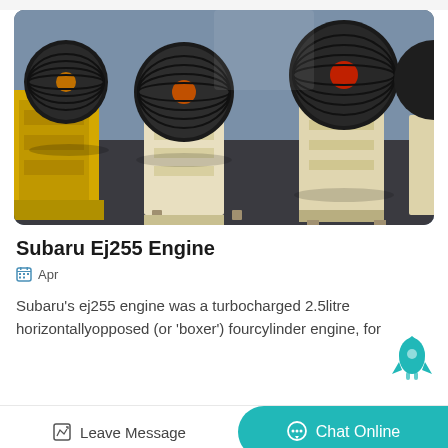[Figure (photo): Industrial jaw crusher machines in a factory setting. Multiple large yellow and cream/beige colored jaw crushers with black flywheel pulleys are lined up on a concrete floor inside a warehouse with blue walls.]
Subaru Ej255 Engine
Apr
Subaru's ej255 engine was a turbocharged 2.5litre horizontallyopposed (or 'boxer') fourcylinder engine, for
Leave Message
Chat Online